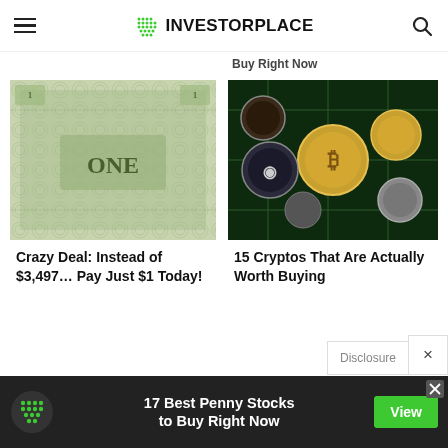INVESTORPLACE
Buy Right Now
[Figure (photo): Close-up of a one-dollar bill showing intricate engravings]
Crazy Deal: Instead of $3,497… Pay Just $1 Today!
[Figure (photo): Collection of various cryptocurrency coins including Bitcoin and Ripple on a circuit board background]
15 Cryptos That Are Actually Worth Buying
Disclosure
[Figure (screenshot): Advertisement banner: 17 Best Penny Stocks to Buy Right Now with View button]